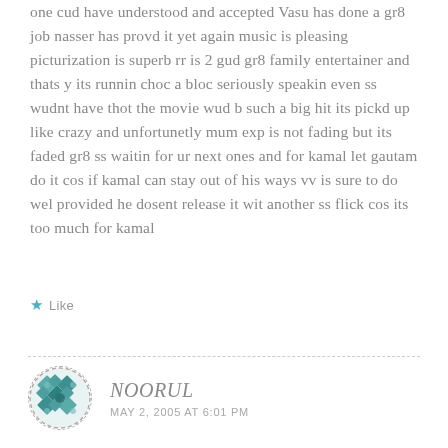one cud have understood and accepted Vasu has done a gr8 job nasser has provd it yet again music is pleasing picturization is superb rr is 2 gud gr8 family entertainer and thats y its runnin choc a bloc seriously speakin even ss wudnt have thot the movie wud b such a big hit its pickd up like crazy and unfortunetly mum exp is not fading but its faded gr8 ss waitin for ur next ones and for kamal let gautam do it cos if kamal can stay out of his ways vv is sure to do wel provided he dosent release it wit another ss flick cos its too much for kamal
★ Like
NOORUL
MAY 2, 2005 AT 6:01 PM